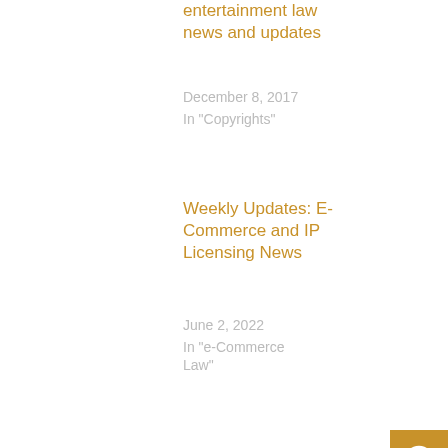entertainment law news and updates
December 8, 2017
In "Copyrights"
Weekly Updates: E-Commerce and IP Licensing News
June 2, 2022
In "e-Commerce Law"
$2 million
20th century fox
california district court
george lucas
jedi schools
lightsaber academy